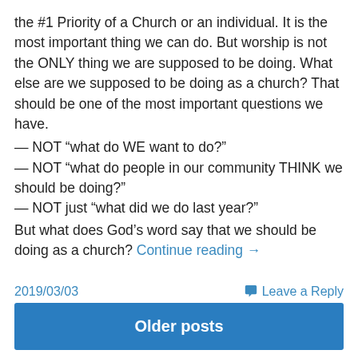the #1 Priority of a Church or an individual. It is the most important thing we can do. But worship is not the ONLY thing we are supposed to be doing. What else are we supposed to be doing as a church? That should be one of the most important questions we have.
— NOT “what do WE want to do?”
— NOT “what do people in our community THINK we should be doing?”
— NOT just “what did we do last year?”
But what does God’s word say that we should be doing as a church? Continue reading →
2019/03/03
Leave a Reply
Older posts